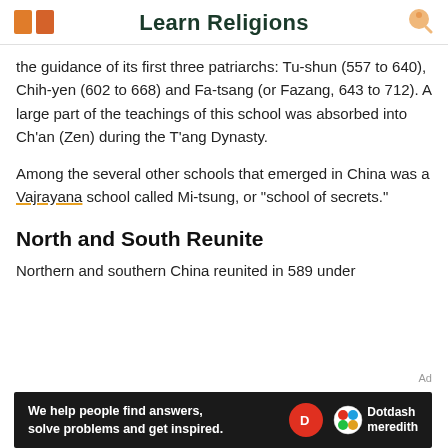Learn Religions
the guidance of its first three patriarchs: Tu-shun (557 to 640), Chih-yen (602 to 668) and Fa-tsang (or Fazang, 643 to 712). A large part of the teachings of this school was absorbed into Ch'an (Zen) during the T'ang Dynasty.
Among the several other schools that emerged in China was a Vajrayana school called Mi-tsung, or "school of secrets."
North and South Reunite
Northern and southern China reunited in 589 under
[Figure (other): Dotdash Meredith advertisement banner: 'We help people find answers, solve problems and get inspired.' with Dotdash Meredith logo]